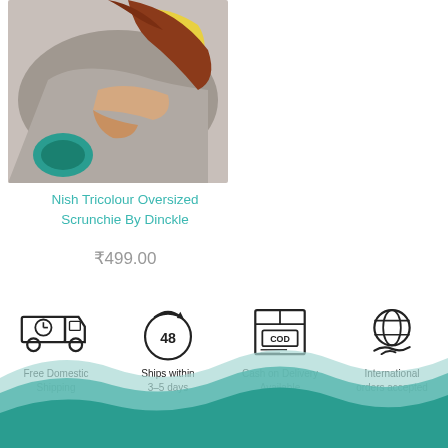[Figure (photo): Product photo of a person lying on a surface with a yellow item and teal scrunchie, cropped view of upper body area.]
Nish Tricolour Oversized Scrunchie By Dinckle
₹499.00
[Figure (infographic): Four icons: delivery truck (Free Domestic Shipping), 48-hour clock (Ships within 3-5 days), COD package (Cash on Delivery Available), globe with handshake (International orders accepted)]
Free Domestic Shipping
Ships within 3-5 days
Cash on Delivery Available
International orders accepted
[Figure (illustration): Teal and light teal wave decorative footer graphic]